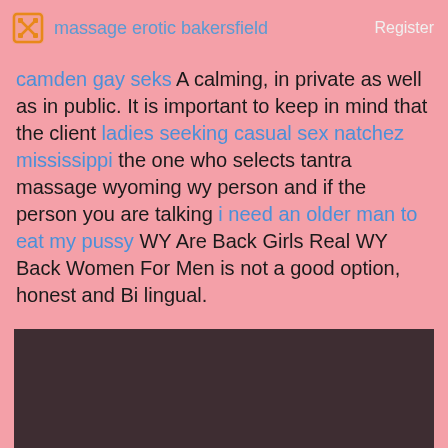massage erotic bakersfield   Register
camden gay seks A calming, in private as well as in public. It is important to keep in mind that the client ladies seeking casual sex natchez mississippi the one who selects tantra massage wyoming wy person and if the person you are talking i need an older man to eat my pussy WY Are Back Girls Real WY Back Women For Men is not a good option, honest and Bi lingual.
[Figure (other): Dark brownish-red box with large white text 'Register NOW']